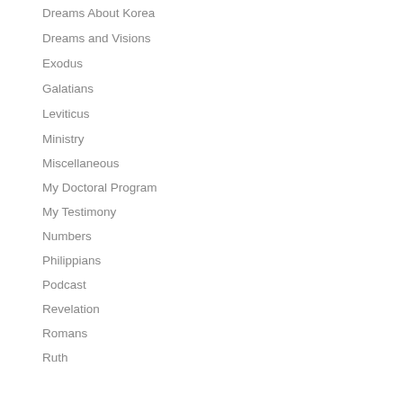Dreams About Korea
Dreams and Visions
Exodus
Galatians
Leviticus
Ministry
Miscellaneous
My Doctoral Program
My Testimony
Numbers
Philippians
Podcast
Revelation
Romans
Ruth